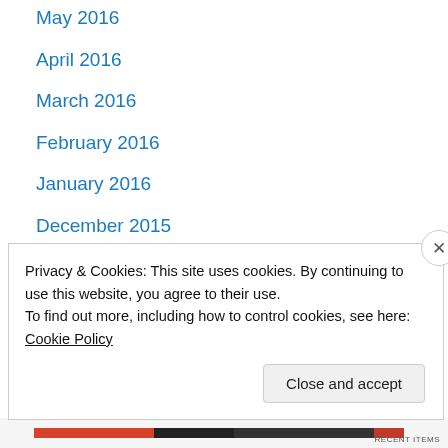May 2016
April 2016
March 2016
February 2016
January 2016
December 2015
November 2015
October 2015
September 2015
April 2015
March 2015
July 2014
June 2014
May 2014
Privacy & Cookies: This site uses cookies. By continuing to use this website, you agree to their use. To find out more, including how to control cookies, see here: Cookie Policy
Close and accept